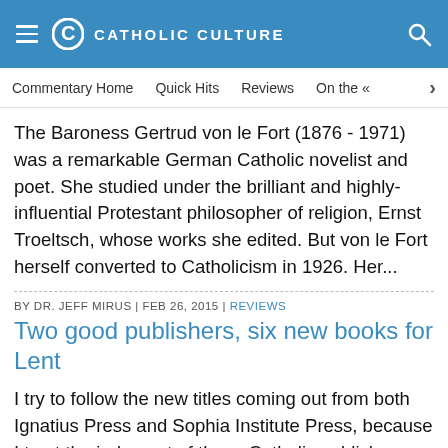CATHOLIC CULTURE
Commentary Home | Quick Hits | Reviews | On the ...
The Baroness Gertrud von le Fort (1876 - 1971) was a remarkable German Catholic novelist and poet. She studied under the brilliant and highly-influential Protestant philosopher of religion, Ernst Troeltsch, whose works she edited. But von le Fort herself converted to Catholicism in 1926. Her...
BY DR. JEFF MIRUS | FEB 26, 2015 | REVIEWS
Two good publishers, six new books for Lent
I try to follow the new titles coming out from both Ignatius Press and Sophia Institute Press, because I trust the judgment of these Catholic publishers. Particularly in the realm of spirituality, they will typically make sure their authors are firmly rooted in